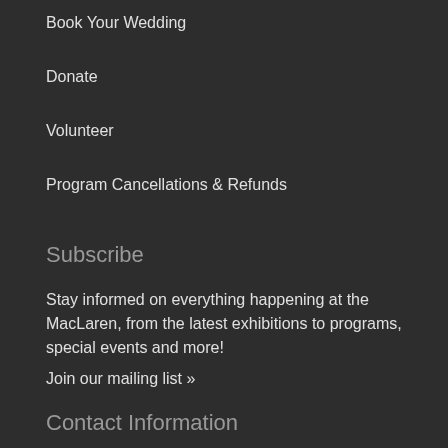Book Your Wedding
Donate
Volunteer
Program Cancellations & Refunds
Subscribe
Stay informed on everything happening at the MacLaren, from the latest exhibitions to programs, special events and more!
Join our mailing list »
Contact Information
Gallery Hours
Wed-Fri: 11:00am to 4:00pm
Saturday: 10:00am to 4:00pm